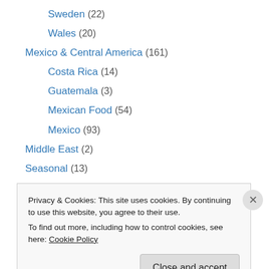Sweden (22)
Wales (20)
Mexico & Central America (161)
Costa Rica (14)
Guatemala (3)
Mexican Food (54)
Mexico (93)
Middle East (2)
Seasonal (13)
South American (15)
Argentina (12)
USA & Canada (188)
American Southwest (42)
Privacy & Cookies: This site uses cookies. By continuing to use this website, you agree to their use. To find out more, including how to control cookies, see here: Cookie Policy
Close and accept